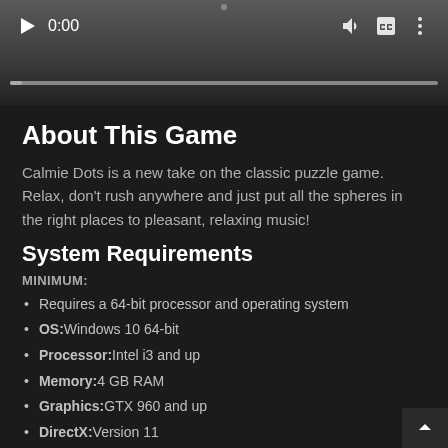[Figure (screenshot): Video player controls showing play button, 0:00 timestamp, volume, captions, and menu icons, with a progress bar at bottom]
About This Game
Calmie Dots is a new take on the classic puzzle game. Relax, don't rush anywhere and just put all the spheres in the right places to pleasant, relaxing music!
System Requirements
MINIMUM:
Requires a 64-bit processor and operating system
OS: Windows 10 64-bit
Processor: Intel i3 and up
Memory: 4 GB RAM
Graphics: GTX 960 and up
DirectX: Version 11